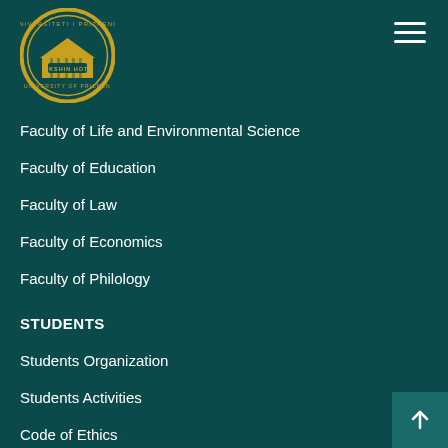[Figure (logo): University of Prizren Ukshin Hoti circular seal/logo with gold border and building illustration]
Faculty of Life and Environmental Science
Faculty of Education
Faculty of Law
Faculty of Economics
Faculty of Philology
STUDENTS
Students Organization
Students Activities
Code of Ethics